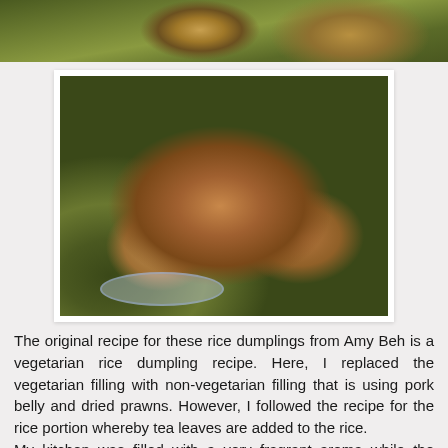[Figure (photo): Partial top view of rice dumplings wrapped in banana leaves on a blue and white plate]
[Figure (photo): Close-up photo of a glutinous rice dumpling (bak chang) with pork belly filling, wrapped in dark green banana leaves, placed on a blue and white ceramic plate]
The original recipe for these rice dumplings from Amy Beh is a vegetarian rice dumpling recipe. Here, I replaced the vegetarian filling with non-vegetarian filling that is using pork belly and dried prawns. However, I followed the recipe for the rice portion whereby tea leaves are added to the rice.
My kitchen was filled with a very fragrant aroma while the dumplings are cooking.